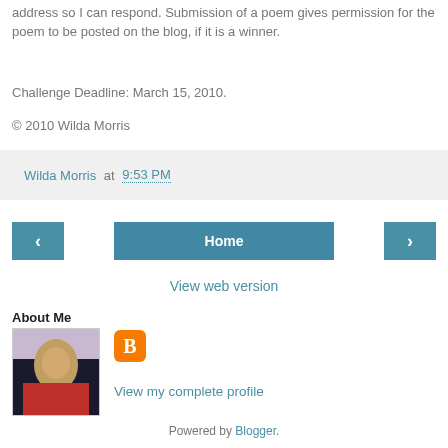address so I can respond. Submission of a poem gives permission for the poem to be posted on the blog, if it is a winner.
Challenge Deadline: March 15, 2010.
© 2010 Wilda Morris
Wilda Morris at 9:53 PM
Home
View web version
About Me
[Figure (photo): Profile photo of a person in a red shirt]
View my complete profile
Powered by Blogger.